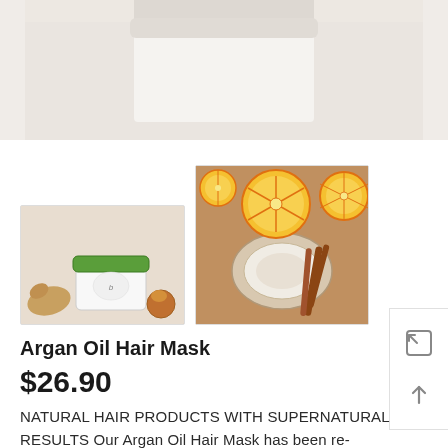[Figure (photo): Top portion of a product photo showing a white jar/container lid against a light beige/gray background, cropped at bottom]
[Figure (photo): Two product thumbnail images: left shows a white and green jar of Argan Oil Hair Mask with ginger root and spices on beige background; right shows orange slices, coconut halves and cinnamon sticks on brown background]
Argan Oil Hair Mask
$26.90
NATURAL HAIR PRODUCTS WITH SUPERNATURAL RESULTS  Our Argan Oil Hair Mask has been re-